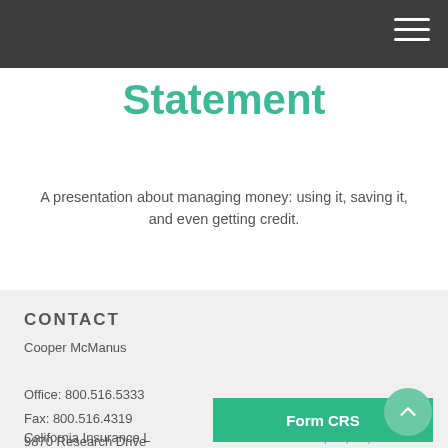Your Cash Flow Statement
A presentation about managing money: using it, saving it, and even getting credit.
CONTACT
Cooper McManus
Office: 800.516.5333
Fax: 800.516.4319
9870 Research Drive
Irvine, CA 92618
California Insurance L... 24, 53, 63, 65 Exams
Form CRS